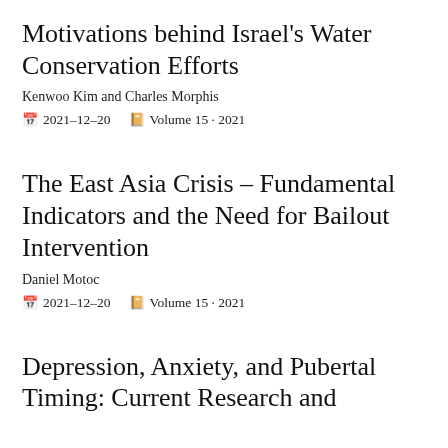Motivations behind Israel's Water Conservation Efforts
Kenwoo Kim and Charles Morphis
2021-12-20  Volume 15 · 2021
The East Asia Crisis – Fundamental Indicators and the Need for Bailout Intervention
Daniel Motoc
2021-12-20  Volume 15 · 2021
Depression, Anxiety, and Pubertal Timing: Current Research and